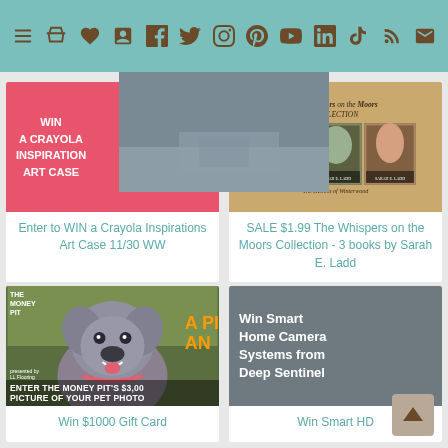Navigation bar with icons: menu, cart, heart, book, facebook, twitter, instagram, pinterest, tumblr, youtube, linkedin, rss, email
[Figure (illustration): Crayola Art Case giveaway image - pink background with rainbow art supply case and text WIN A CRAYOLA INSPIRATION ART CASE]
Enter to WIN a Crayola Inspirations Art Case 11/30 WW
[Figure (illustration): The Whispers on the Moors Collection book covers by Sarah E. Ladd - tan/gold background showing 3 book covers and subtitle The Heiress of Winterwood]
SALE $1.99 The Whispers on the Moors Collection - 3 books by Sarah E. Ladd
[Figure (photo): The Money Pit dog photo contest entry - gray pitbull dog smiling with text ENTER THE MONEY PIT'S $3,000 PICTURE OF YOUR PET PHOTO and A PIT AND... text in orange, sponsored by LL Flooring]
Win $1000 Gift Card
[Figure (photo): Win Smart Home Camera Systems from Deep Sentinel - blurred outdoor background with white bold text overlay]
Win Smart HD